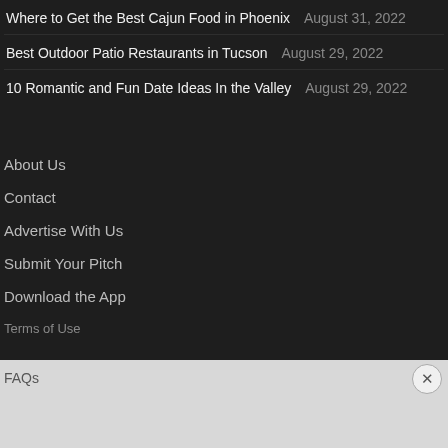Where to Get the Best Cajun Food in Phoenix   August 31, 2022
Best Outdoor Patio Restaurants in Tucson   August 29, 2022
10 Romantic and Fun Date Ideas In the Valley   August 29, 2022
About Us
Contact
Advertise With Us
Submit Your Pitch
Download the App
Terms of Use
FAQs